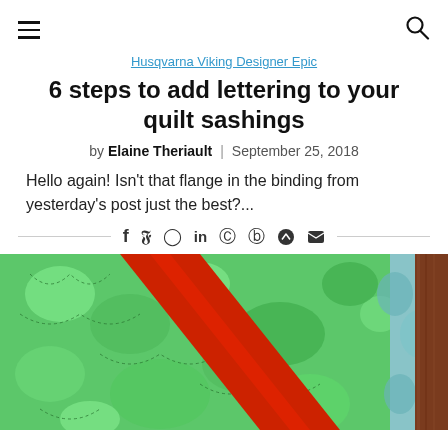navigation header with hamburger menu and search icon
Husqvarna Viking Designer Epic
6 steps to add lettering to your quilt sashings
by Elaine Theriault | September 25, 2018
Hello again! Isn't that flange in the binding from yesterday's post just the best?...
[Figure (other): Social sharing icons row: facebook, twitter, pinterest, linkedin, reddit, whatsapp, telegram, email]
[Figure (photo): Close-up photo of a green quilted fabric with a red sashing border, with teal quilted fabric on the right and brown wood surface visible at far right]